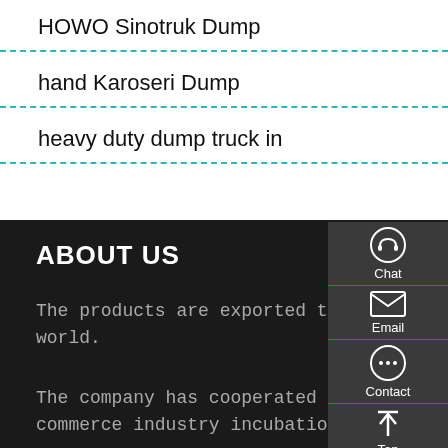HOWO Sinotruk Dump
hand China Howo Tipper
hand Karoseri Dump
Hand New Isuzu Giga Truck
heavy duty dump truck in
hand Tipper Trucks For
ABOUT US
The products are exported to all over the world.
The company has cooperated with the e-commerce industry incubation base in henan